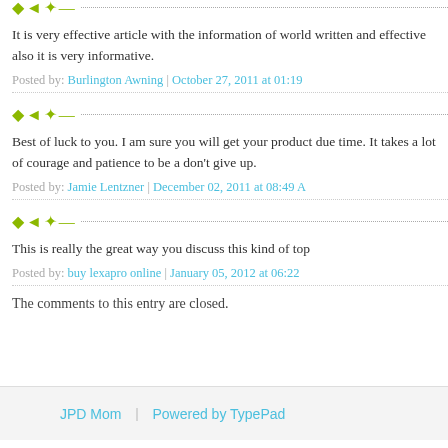[Figure (illustration): Green leaf/arrow decorative icon with dotted line divider]
It is very effective article with the information of world written and effective also it is very informative.
Posted by: Burlington Awning | October 27, 2011 at 01:19
[Figure (illustration): Green leaf/arrow decorative icon with dotted line divider]
Best of luck to you. I am sure you will get your product due time. It takes a lot of courage and patience to be a don't give up.
Posted by: Jamie Lentzner | December 02, 2011 at 08:49 A
[Figure (illustration): Green leaf/arrow decorative icon with dotted line divider]
This is really the great way you discuss this kind of top
Posted by: buy lexapro online | January 05, 2012 at 06:22
The comments to this entry are closed.
JPD Mom | Powered by TypePad